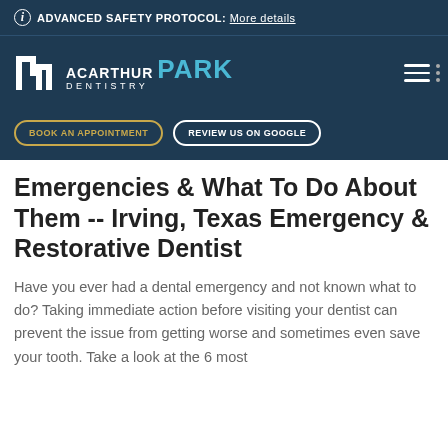ADVANCED SAFETY PROTOCOL: More details
[Figure (logo): MacArthur Park Dentistry logo with navigation bar on dark blue background]
BOOK AN APPOINTMENT   REVIEW US ON GOOGLE
6 Common Dental Emergencies & What To Do About Them -- Irving, Texas Emergency & Restorative Dentist
Have you ever had a dental emergency and not known what to do? Taking immediate action before visiting your dentist can prevent the issue from getting worse and sometimes even save your tooth. Take a look at the 6 most